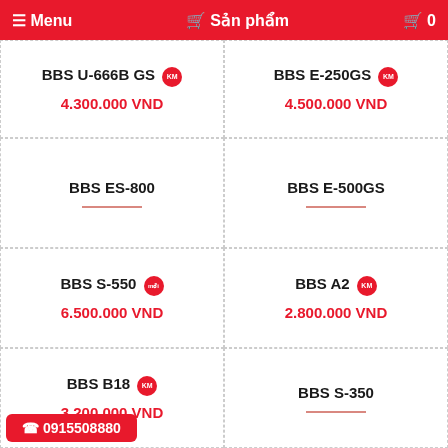☰ Menu  🛒 Sản phẩm  🛒 0
| BBS U-666B GS KM | BBS E-250GS KM |
| 4.300.000 VND | 4.500.000 VND |
| BBS ES-800 | BBS E-500GS |
| — | — |
| BBS S-550 mới | BBS A2 KM |
| 6.500.000 VND | 2.800.000 VND |
| BBS B18 KM | BBS S-350 |
| 3.200.000 VND | — |
☎ 0915508880